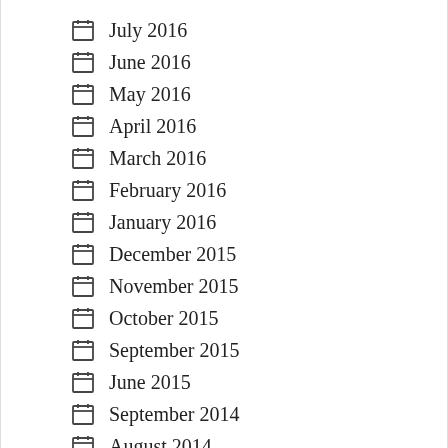July 2016
June 2016
May 2016
April 2016
March 2016
February 2016
January 2016
December 2015
November 2015
October 2015
September 2015
June 2015
September 2014
August 2014
July 2014